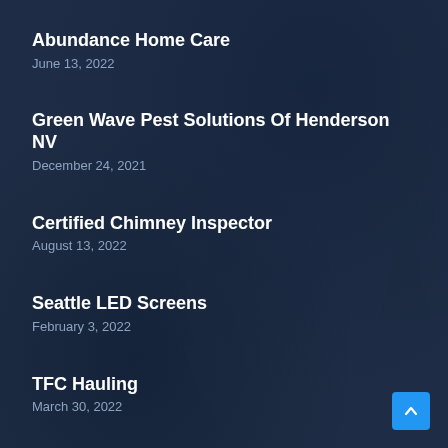Abundance Home Care
June 13, 2022
Green Wave Pest Solutions Of Henderson NV
December 24, 2021
Certified Chimney Inspector
August 13, 2022
Seattle LED Screens
February 3, 2022
TFC Hauling
March 30, 2022